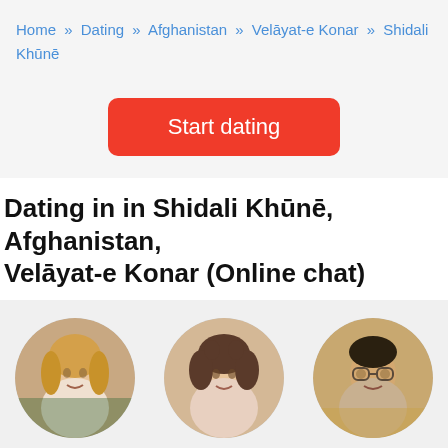Home » Dating » Afghanistan » Velāyat-e Konar » Shidali Khūnē
Start dating
Dating in in Shidali Khūnē, Afghanistan, Velāyat-e Konar (Online chat)
[Figure (photo): Profile photo of Kristin, 41, circular avatar]
Kristin, 41
[Figure (photo): Profile photo of Ellen, 75, circular avatar]
Ellen, 75
[Figure (photo): Profile photo of Salman, 31, circular avatar]
Salman, 31